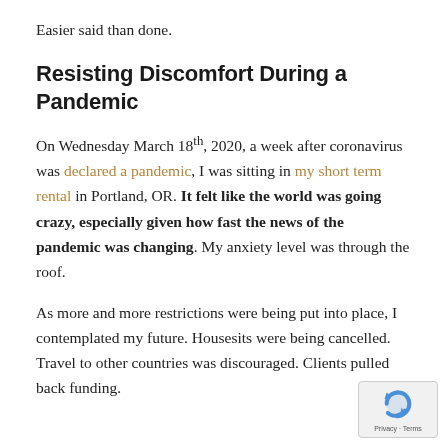Easier said than done.
Resisting Discomfort During a Pandemic
On Wednesday March 18th, 2020, a week after coronavirus was declared a pandemic, I was sitting in my short term rental in Portland, OR. It felt like the world was going crazy, especially given how fast the news of the pandemic was changing. My anxiety level was through the roof.
As more and more restrictions were being put into place, I contemplated my future. Housesits were being cancelled. Travel to other countries was discouraged. Clients pulled back funding.